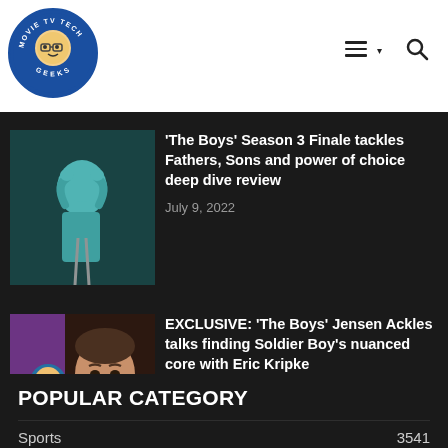[Figure (logo): Movie TV Tech Geeks circular logo with cartoon character]
≡▾  🔍
[Figure (photo): Scene from The Boys Season 3 - teal colored figure]
'The Boys' Season 3 Finale tackles Fathers, Sons and power of choice deep dive review
July 9, 2022
[Figure (photo): Jensen Ackles as Soldier Boy with superhero comic art background]
EXCLUSIVE: 'The Boys' Jensen Ackles talks finding Soldier Boy's nuanced core with Eric Kripke
July 9, 2022
POPULAR CATEGORY
Sports    3541
TV News    1757
Movie News    1436